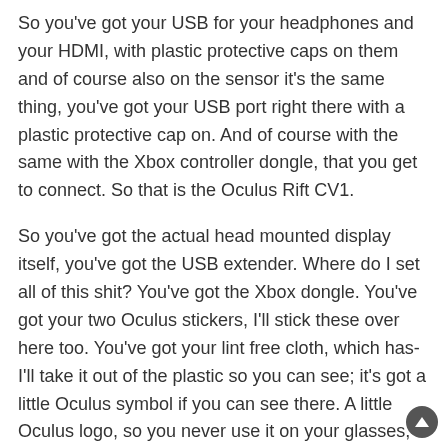So you've got your USB for your headphones and your HDMI, with plastic protective caps on them and of course also on the sensor it's the same thing, you've got your USB port right there with a plastic protective cap on. And of course with the same with the Xbox controller dongle, that you get to connect. So that is the Oculus Rift CV1.
So you've got the actual head mounted display itself, you've got the USB extender. Where do I set all of this shit? You've got the Xbox dongle. You've got your two Oculus stickers, I'll stick these over here too. You've got your lint free cloth, which has- I'll take it out of the plastic so you can see; it's got a little Oculus symbol if you can see there. A little Oculus logo, so you never use it on your glasses, you can keep it Oculus specific. You've got a fucking mound of paperwork from Microsoft, you know several different pamphlets for different languages. I'm just going to throw these off to the side, 'cause who cares about that crap. You've got your Xbox One controller, I'll put that off to the side so you can see it, you've got your batteries   for the Xbox One